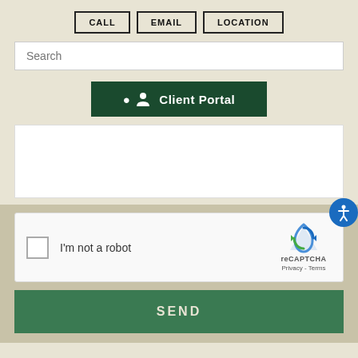[Figure (screenshot): Navigation buttons: CALL, EMAIL, LOCATION in outlined boxes]
[Figure (screenshot): Search input field with placeholder text 'Search']
[Figure (screenshot): Dark green Client Portal button with person icon]
[Figure (screenshot): White content area / text area box]
[Figure (screenshot): reCAPTCHA widget with checkbox and 'I'm not a robot' text]
[Figure (screenshot): Green SEND button]